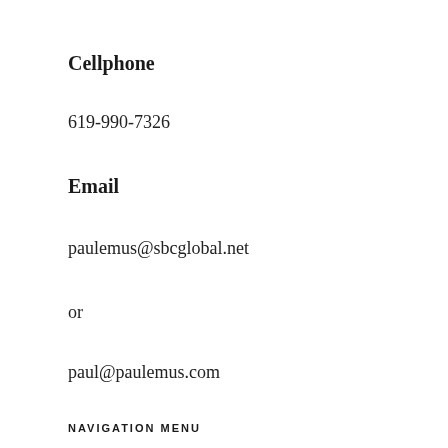Cellphone
619-990-7326
Email
paulemus@sbcglobal.net
or
paul@paulemus.com
NAVIGATION MENU